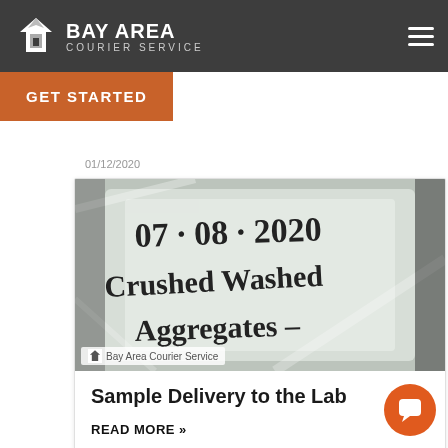BAY AREA COURIER SERVICE
GET STARTED
01/12/2020
[Figure (photo): A plastic bag labeled '07.08.2020 Crushed Washed Aggregates' with handwritten marker text, sample delivery for lab]
Bay Area Courier Service
Sample Delivery to the Lab
READ MORE »